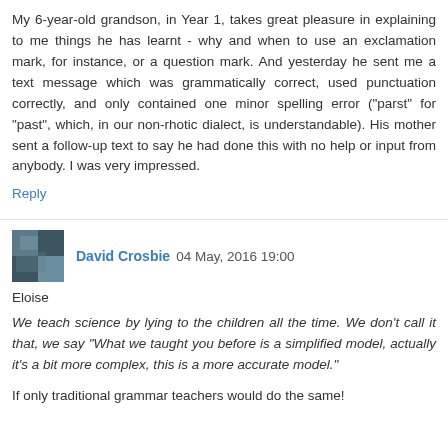My 6-year-old grandson, in Year 1, takes great pleasure in explaining to me things he has learnt - why and when to use an exclamation mark, for instance, or a question mark. And yesterday he sent me a text message which was grammatically correct, used punctuation correctly, and only contained one minor spelling error ("parst" for "past", which, in our non-rhotic dialect, is understandable). His mother sent a follow-up text to say he had done this with no help or input from anybody. I was very impressed.
Reply
David Crosbie 04 May, 2016 19:00
Eloise
We teach science by lying to the children all the time. We don't call it that, we say "What we taught you before is a simplified model, actually it's a bit more complex, this is a more accurate model."
If only traditional grammar teachers would do the same!